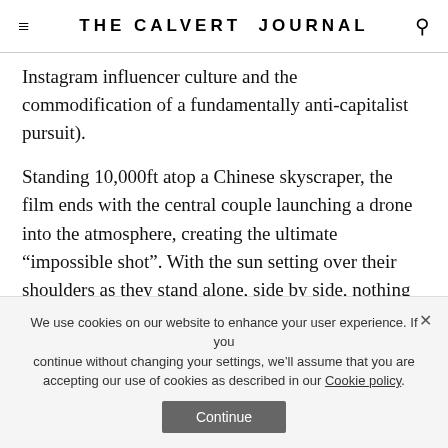THE CALVERT JOURNAL
Instagram influencer culture and the commodification of a fundamentally anti-capitalist pursuit).
Standing 10,000ft atop a Chinese skyscraper, the film ends with the central couple launching a drone into the atmosphere, creating the ultimate “impossible shot”. With the sun setting over their shoulders as they stand alone, side by side, nothing looks more romantic.
The Unforgiven (Denmark/Serbia) Director: Lars Feldballe-Petersen
We use cookies on our website to enhance your user experience. If you continue without changing your settings, we’ll assume that you are accepting our use of cookies as described in our Cookie policy.